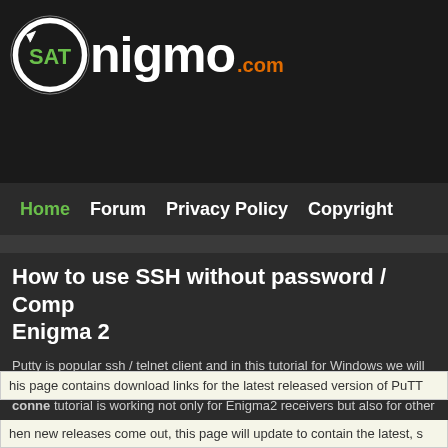[Figure (logo): SATnigmo.com logo with circular arrow icon, SAT in green, nigmo in white, .com in orange on dark background]
Home   Forum   Privacy Policy   Copyright
How to use SSH without password / Comp Enigma 2
Putty is popular ssh / telnet client and in this tutorial for Windows we will se connect to your Enigma2 receiver. As a bonus you will be able to conne tutorial is working not only for Enigma2 receivers but also for other Linux-b
Lets start. First download Putty application from official website and install his page contains download links for the latest released version of PuTT
hen new releases come out, this page will update to contain the latest, s